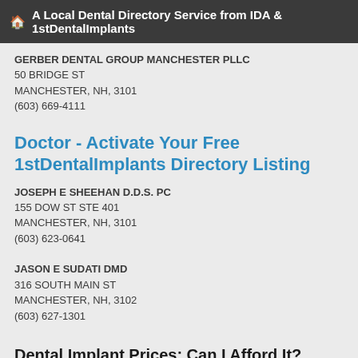🏠 A Local Dental Directory Service from IDA & 1stDentalImplants
GERBER DENTAL GROUP MANCHESTER PLLC
50 BRIDGE ST
MANCHESTER, NH, 3101
(603) 669-4111
Doctor - Activate Your Free 1stDentalImplants Directory Listing
JOSEPH E SHEEHAN D.D.S. PC
155 DOW ST STE 401
MANCHESTER, NH, 3101
(603) 623-0641
JASON E SUDATI DMD
316 SOUTH MAIN ST
MANCHESTER, NH, 3102
(603) 627-1301
Dental Implant Prices: Can I Afford It?
Deciding whether you can afford dental